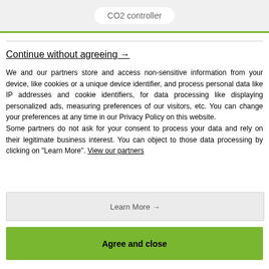CO2 controller
Continue without agreeing →
We and our partners store and access non-sensitive information from your device, like cookies or a unique device identifier, and process personal data like IP addresses and cookie identifiers, for data processing like displaying personalized ads, measuring preferences of our visitors, etc. You can change your preferences at any time in our Privacy Policy on this website. Some partners do not ask for your consent to process your data and rely on their legitimate business interest. You can object to those data processing by clicking on "Learn More". View our partners
Learn More →
Agree and close